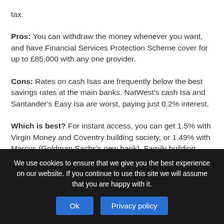tax.
Pros: You can withdraw the money whenever you want, and have Financial Services Protection Scheme cover for up to £85,000 with any one provider.
Cons: Rates on cash Isas are frequently below the best savings rates at the main banks. NatWest's cash Isa and Santander's Easy Isa are worst, paying just 0.2% interest.
Which is best? For instant access, you can get 1.5% with Virgin Money and Coventry building society, or 1.49% with Marcus (Goldman Sachs's new bank). Family building...
We use cookies to ensure that we give you the best experience on our website. If you continue to use this site we will assume that you are happy with it.